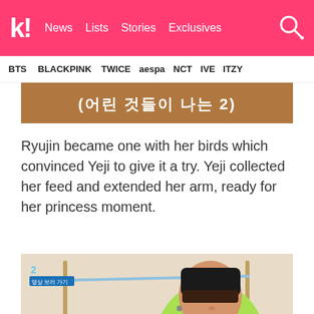k! News Lists Stories Exclusives
BTS
BLACKPINK
TWICE
aespa
NCT
IVE
ITZY
[Figure (screenshot): Korean text subtitle on a video still]
Ryujin became one with her birds which convinced Yeji to give it a try. Yeji collected her feed and extended her arm, ready for her princess moment.
[Figure (screenshot): Video still showing a person in a black beanie and neon green hoodie holding out their arm toward a yellow bird, with a play button overlay. Subtitles read: (Yeji, you can do it) [Yes] I'm really venturing for the sev]